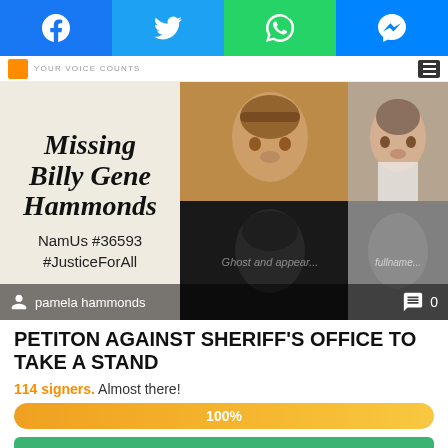[Figure (screenshot): Social media share bar with Facebook, Twitter, WhatsApp, and Messenger icons]
YOUR VOICE COUNTS
[Figure (photo): Collage of photos showing Missing Billy Gene Hammonds, NamUs #36593, #JusticeForAll, with user pamela hammonds and 0 comments]
PETITON AGAINST SHERIFF'S OFFICE TO TAKE A STAND
114 signers. Almost there!
[Figure (infographic): Progress bar showing 100%]
SIGN PETITION